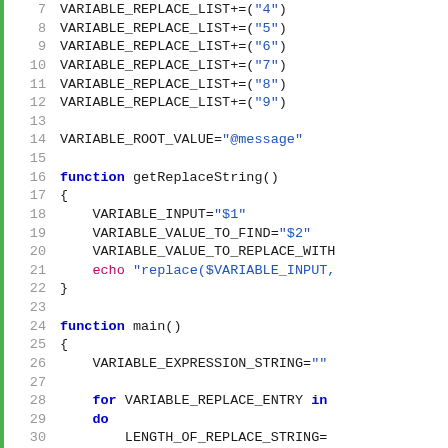Code listing showing shell script with VARIABLE_REPLACE_LIST, VARIABLE_ROOT_VALUE, getReplaceString function, and main function with for loop. Lines 7-31+.